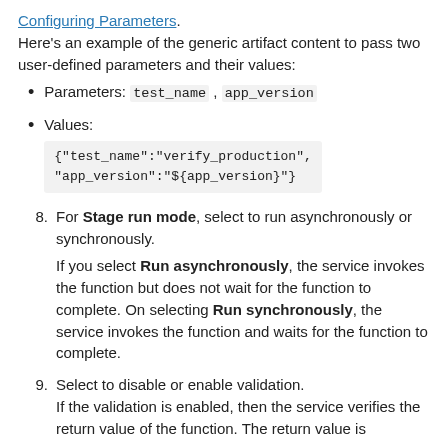Configuring Parameters. Here's an example of the generic artifact content to pass two user-defined parameters and their values:
Parameters: test_name , app_version
Values: {"test_name":"verify_production", "app_version":"${app_version}"}
8. For Stage run mode, select to run asynchronously or synchronously. If you select Run asynchronously, the service invokes the function but does not wait for the function to complete. On selecting Run synchronously, the service invokes the function and waits for the function to complete.
9. Select to disable or enable validation. If the validation is enabled, then the service verifies the return value of the function. The return value is